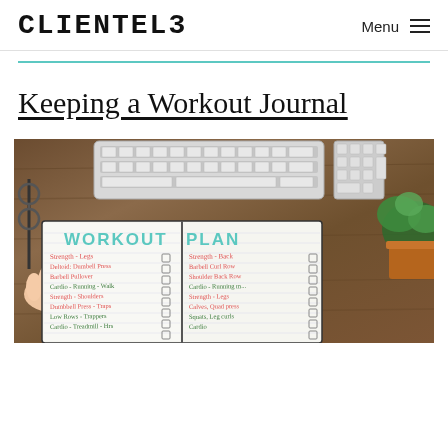CLIENTEL3  Menu ≡
Keeping a Workout Journal
[Figure (photo): Overhead photo of a wooden desk with an open workout plan journal, a computer keyboard, a hand holding a pen over the journal, glasses, and a small plant. The journal is open to a page labeled WORKOUT PLAN with handwritten exercises in green and red.]